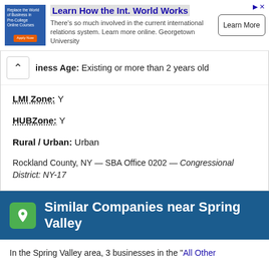[Figure (other): Advertisement banner: Learn How the Int. World Works - Georgetown University online courses ad with Learn More button]
Business Age: Existing or more than 2 years old
LMI Zone: Y
HUBZone: Y
Rural / Urban: Urban
Rockland County, NY — SBA Office 0202 — Congressional District: NY-17
Similar Companies near Spring Valley
In the Spring Valley area, 3 businesses in the "All Other